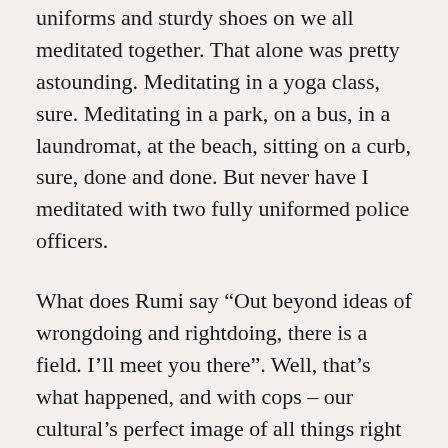uniforms and sturdy shoes on we all meditated together. That alone was pretty astounding. Meditating in a yoga class, sure. Meditating in a park, on a bus, in a laundromat, at the beach, sitting on a curb, sure, done and done. But never have I meditated with two fully uniformed police officers.
What does Rumi say “Out beyond ideas of wrongdoing and rightdoing, there is a field. I’ll meet you there”. Well, that’s what happened, and with cops – our cultural’s perfect image of all things right and wrong. That’s the image that invokes fear of being weighed and measured, found guilty and punished